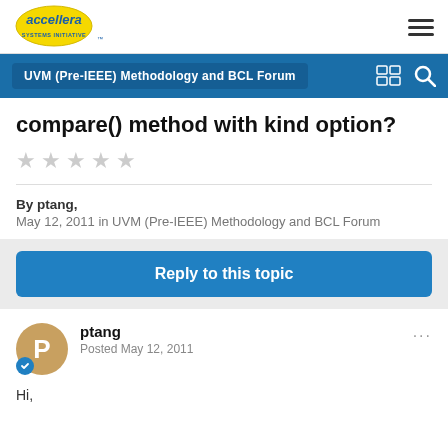[Figure (logo): Accellera Systems Initiative logo]
UVM (Pre-IEEE) Methodology and BCL Forum
compare() method with kind option?
By ptang,
May 12, 2011 in UVM (Pre-IEEE) Methodology and BCL Forum
Reply to this topic
ptang
Posted May 12, 2011
Hi,